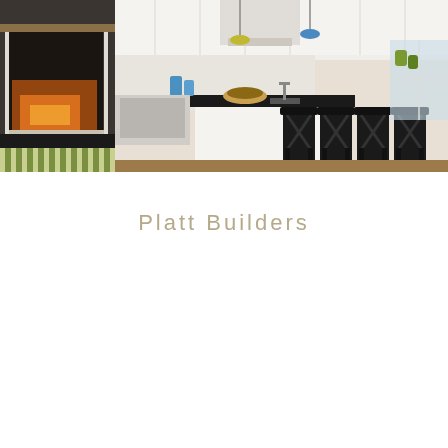[Figure (photo): Interior kitchen photo showing white cabinets, a large kitchen island with dark countertop and black bar stools with X-back design, a fireplace on the left with green striped rug, blue decorative items, pendant lights, and hardwood floors.]
Platt Builders